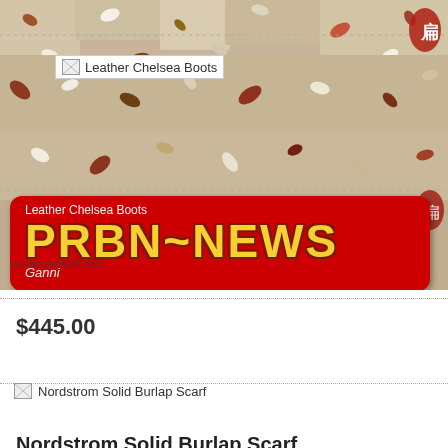[Figure (screenshot): Mosaic tile background image with a red PRBN~NEWS banner overlay. Above the banner shows broken image placeholder for Leather Chelsea Boots. Below the banner shows 'Ganni' brand text and a watermark 'modaodetaadi.com'.]
$445.00
[Figure (photo): Broken image placeholder for Nordstrom Solid Burlap Scarf]
Nordstrom Solid Burlap Scarf